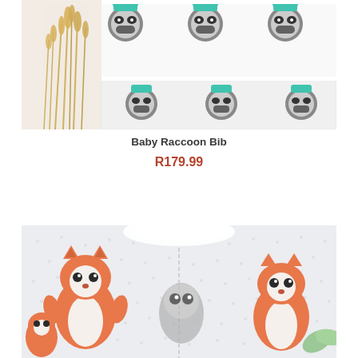[Figure (photo): Baby bib with raccoon face pattern printed on white fabric, placed on a beige surface with dried wheat stalks on the left side.]
Baby Raccoon Bib
R179.99
[Figure (photo): Baby long-sleeve bib or smock with orange fox and grey owl pattern on a white/grey dotted fabric background.]